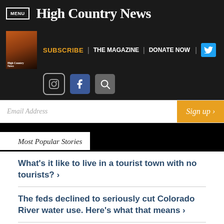MENU | High Country News
[Figure (screenshot): High Country News website navigation with SUBSCRIBE, THE MAGAZINE, DONATE NOW links, Twitter, Instagram, Facebook icons]
Email Address | Sign up ›
Most Popular Stories
What's it like to live in a tourist town with no tourists? ›
The feds declined to seriously cut Colorado River water use. Here's what that means ›
The Wicked Witch of the West ›
Botanists find one of 'the world's worst weeds' spreading in the Boise foothills ›